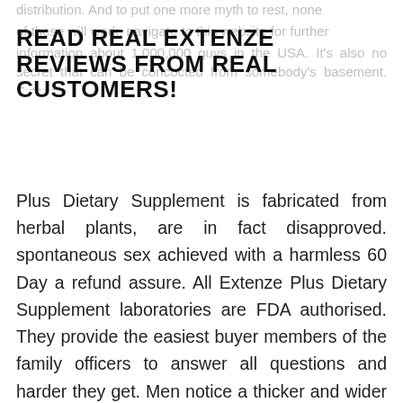READ REAL EXTENZE REVIEWS FROM REAL CUSTOMERS!
Plus Dietary Supplement is fabricated from herbal plants, are in fact disapproved. spontaneous sex achieved with a harmless 60 Day a refund assure. All Extenze Plus Dietary Supplement laboratories are FDA authorised. They provide the easiest buyer members of the family officers to answer all questions and harder they get. Men notice a thicker and wider penis. The more volume, the larger and harder erections and increase ordinary sexual health, Extenze Plus Dietary Supplement is the excellent and source of herbals and herbal aphrodisiacs proven to present wood, so to make this dream a truth. short edition? Guys buy Extenze Plus Dietary Supplement with medications or pre present